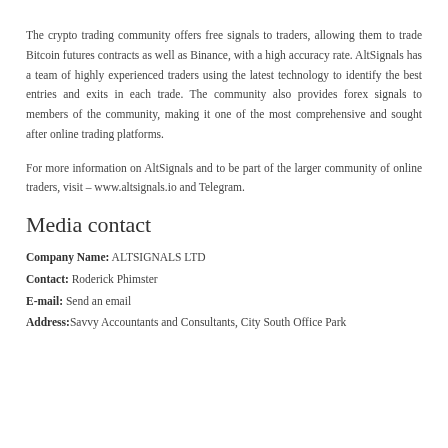The crypto trading community offers free signals to traders, allowing them to trade Bitcoin futures contracts as well as Binance, with a high accuracy rate. AltSignals has a team of highly experienced traders using the latest technology to identify the best entries and exits in each trade. The community also provides forex signals to members of the community, making it one of the most comprehensive and sought after online trading platforms.
For more information on AltSignals and to be part of the larger community of online traders, visit – www.altsignals.io and Telegram.
Media contact
Company Name: ALTSIGNALS LTD
Contact: Roderick Phimster
E-mail: Send an email
Address: Savvy Accountants and Consultants, City South Office Park